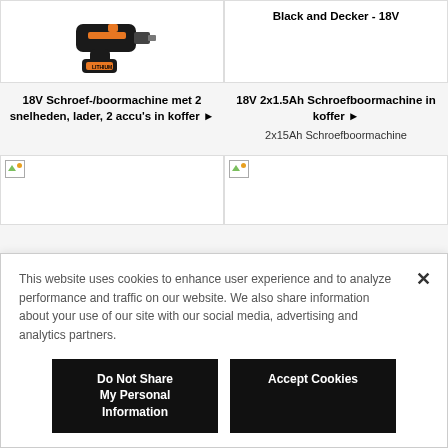[Figure (photo): Black and Decker 18V drill/screwdriver with battery, top-left product image]
Black and Decker - 18V
18V Schroef-/boormachine met 2 snelheden, lader, 2 accu's in koffer ▶
18V 2x1.5Ah Schroefboormachine in koffer ▶
2x15Ah Schroefboormachine
[Figure (photo): Product image placeholder bottom left]
[Figure (photo): Product image placeholder bottom right]
This website uses cookies to enhance user experience and to analyze performance and traffic on our website. We also share information about your use of our site with our social media, advertising and analytics partners.
Do Not Share My Personal Information
Accept Cookies